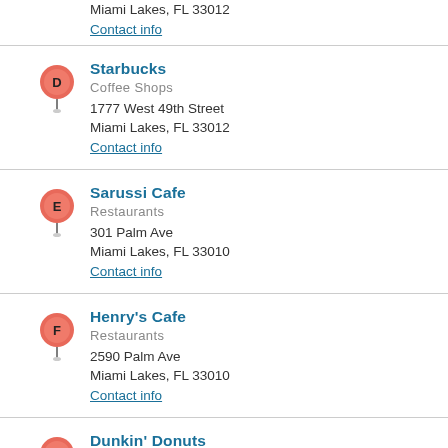Miami Lakes, FL 33012
Contact info
Starbucks
Coffee Shops
1777 West 49th Street
Miami Lakes, FL 33012
Contact info
Sarussi Cafe
Restaurants
301 Palm Ave
Miami Lakes, FL 33010
Contact info
Henry's Cafe
Restaurants
2590 Palm Ave
Miami Lakes, FL 33010
Contact info
Dunkin' Donuts
Coffee Shops
2356 W 78th St